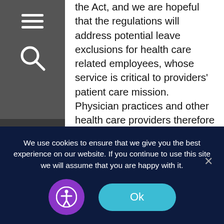the Act, and we are hopeful that the regulations will address potential leave exclusions for health care related employees, whose service is critical to providers' patient care mission. Physician practices and other health care providers therefore should stay tuned for potential further clarification of the health care provider definition and exclusions under the Act, which could materially alter the impact of the Act on health care organizations.
We use cookies to ensure that we give you the best experience on our website. If you continue to use this site we will assume that you are happy with it.